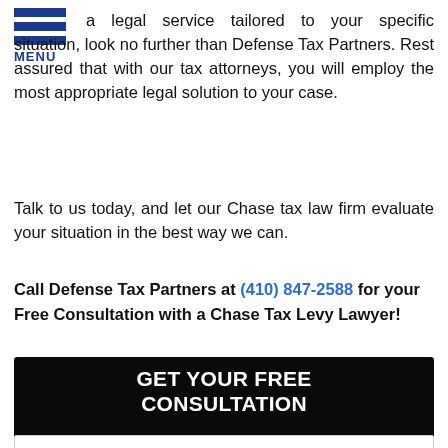MENU
a legal service tailored to your specific situation, look no further than Defense Tax Partners. Rest assured that with our tax attorneys, you will employ the most appropriate legal solution to your case.
Talk to us today, and let our Chase tax law firm evaluate your situation in the best way we can.
Call Defense Tax Partners at (410) 847-2588 for your Free Consultation with a Chase Tax Levy Lawyer!
[Figure (infographic): Dark black banner with white bold text 'GET YOUR FREE CONSULTATION' followed by form fields for Full Name, Best Phone, Email Address, How Can We Help You, and two circular icons (phone and email) in navy blue at bottom right.]